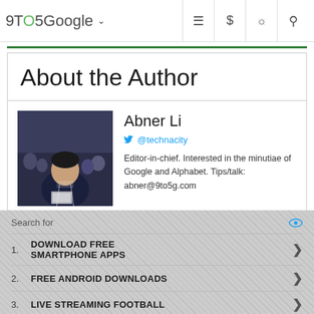9TO5Google
About the Author
Abner Li
@technacity
Editor-in-chief. Interested in the minutiae of Google and Alphabet. Tips/talk: abner@9to5g.com
Search for
1. DOWNLOAD FREE SMARTPHONE APPS
2. FREE ANDROID DOWNLOADS
3. LIVE STREAMING FOOTBALL